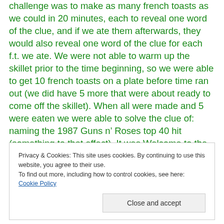challenge was to make as many french toasts as we could in 20 minutes, each to reveal one word of the clue, and if we ate them afterwards, they would also reveal one word of the clue for each f.t. we ate. We were not able to warm up the skillet prior to the time beginning, so we were able to get 10 french toasts on a plate before time ran out (we did have 5 more that were about ready to come off the skillet). When all were made and 5 were eaten we were able to solve the clue of: naming the 1987 Guns n’ Roses top 40 hit (something to that effect). It was Welcome to the Jungle. In looking around Jack and Alice’s house Jeremy
Privacy & Cookies: This site uses cookies. By continuing to use this website, you agree to their use.
To find out more, including how to control cookies, see here: Cookie Policy